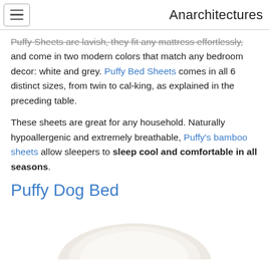Anarchitectures
Puffy Sheets are lavish, they fit any mattress effortlessly, and come in two modern colors that match any bedroom decor: white and grey. Puffy Bed Sheets comes in all 6 distinct sizes, from twin to cal-king, as explained in the preceding table.
These sheets are great for any household. Naturally hypoallergenic and extremely breathable, Puffy's bamboo sheets allow sleepers to sleep cool and comfortable in all seasons.
Puffy Dog Bed
[Figure (photo): Partial image of a white fluffy dog bed, cropped at bottom of page]